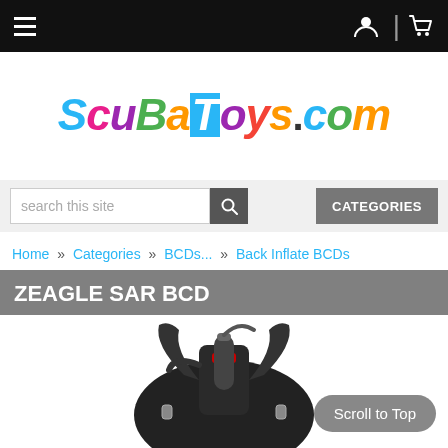Navigation bar with hamburger menu, user icon, and cart icon
[Figure (logo): ScubaToys.com colorful logo in large playful multi-colored text]
search this site [search button] CATEGORIES
Home » Categories » BCDs... » Back Inflate BCDs
ZEAGLE SAR BCD
[Figure (photo): Photo of a black Zeagle SAR BCD scuba diving buoyancy compensator device, showing straps, harness and bladder]
Scroll to Top